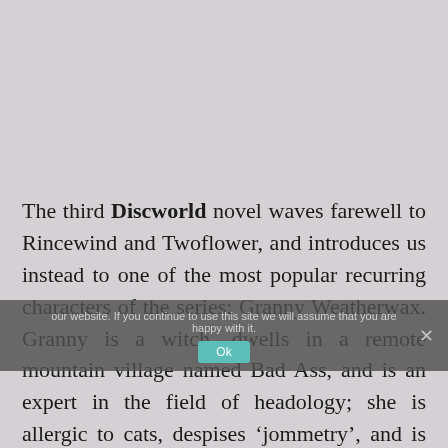The third Discworld novel waves farewell to Rincewind and Twoflower, and introduces us instead to one of the most popular recurring characters of the series: Granny Weatherwax. Granny is a witch, dwells in a remote mountain village named Bad Ass, and is an expert in the field of headology; she is allergic to cats, despises 'jommetry', and is wary of people originating from 'forn parts'. Granny raises goats, grows mysterious herbs, and can inhabit, or 'borrow', the minds of animals. She can stare down the toughest of men